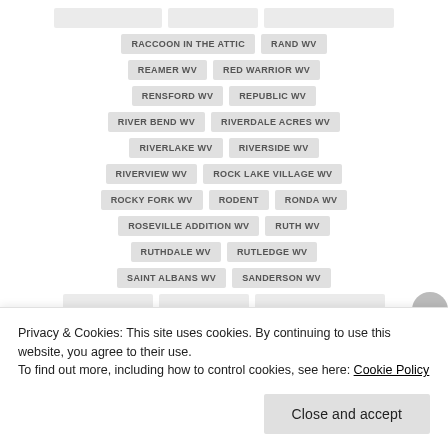RACCOON IN THE ATTIC
RAND WV
REAMER WV
RED WARRIOR WV
RENSFORD WV
REPUBLIC WV
RIVER BEND WV
RIVERDALE ACRES WV
RIVERLAKE WV
RIVERSIDE WV
RIVERVIEW WV
ROCK LAKE VILLAGE WV
ROCKY FORK WV
RODENT
RONDA WV
ROSEVILLE ADDITION WV
RUTH WV
RUTHDALE WV
RUTLEDGE WV
SAINT ALBANS WV
SANDERSON WV
Privacy & Cookies: This site uses cookies. By continuing to use this website, you agree to their use.
To find out more, including how to control cookies, see here: Cookie Policy